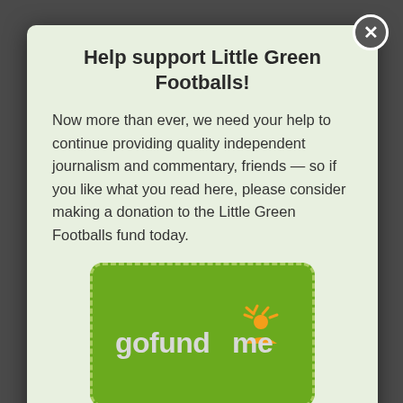Help support Little Green Footballs!
Now more than ever, we need your help to continue providing quality independent journalism and commentary, friends — so if you like what you read here, please consider making a donation to the Little Green Footballs fund today.
[Figure (logo): GoFundMe logo inside a green rounded rectangle with dashed border]
Subscribe now for ad-free access!